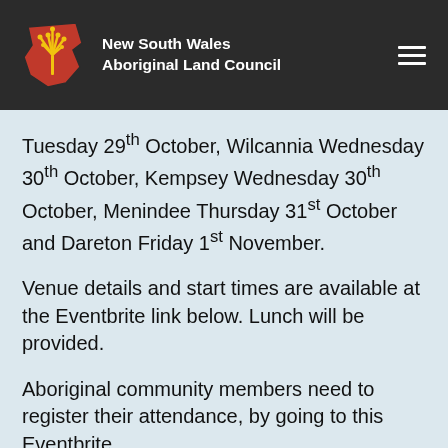New South Wales Aboriginal Land Council
Tuesday 29th October, Wilcannia Wednesday 30th October, Kempsey Wednesday 30th October, Menindee Thursday 31st October and Dareton Friday 1st November.
Venue details and start times are available at the Eventbrite link below. Lunch will be provided.
Aboriginal community members need to register their attendance, by going to this Eventbrite.